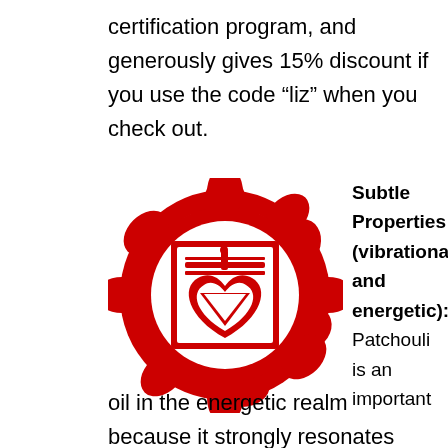certification program, and generously gives 15% discount if you use the code “liz” when you check out.
[Figure (illustration): Red muladhara (root chakra) symbol — a lotus flower with four petals surrounding a square containing a downward-pointing triangle inside a heart shape, with Sanskrit-style symbol above.]
Subtle Properties (vibrational and energetic): Patchouli is an important oil in the energetic realm because it strongly resonates with our base chakra which grounds